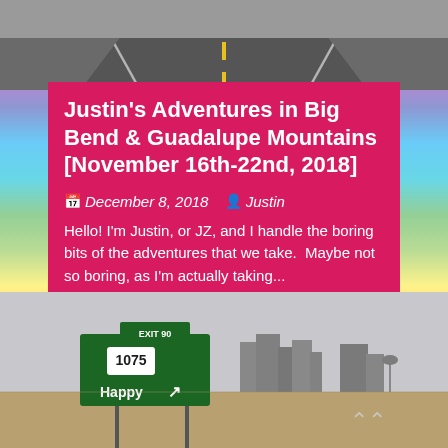[Figure (photo): Top photo of a road with yellow center line stretching into the distance, viewed from above]
Justin's Adventures in Big Bend & Guadalupe Mountains [November 16th-22nd, 2018]
📅 December 8, 2018  👤 Justin
Hello! I'm Justin, or JZ, and I handle the boring bits of the adventures that we take.  Maybe not so boring, as I'm actually taking...
[Figure (photo): Highway scene with a green exit sign showing Exit 90, route 1075, and 'Happy' with an arrow, and a small town skyline in the background under a grey sky]